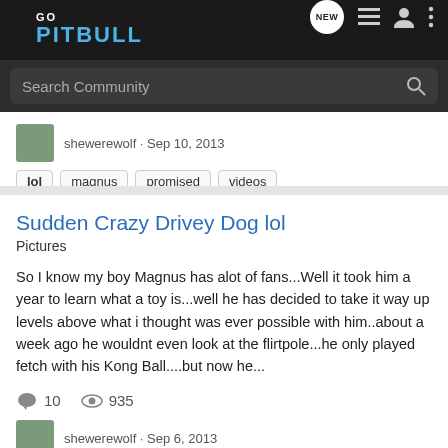GO PITBULL — navigation bar with NEW, list, profile, and menu icons
Search Community
shewerewolf · Sep 10, 2013
lol
magnus
promised
videos
Sudden Crazy Drivey Dog lol
Pictures
So I know my boy Magnus has alot of fans...Well it took him a year to learn what a toy is...well he has decided to take it way up levels above what i thought was ever possible with him..about a week ago he wouldnt even look at the flirtpole...he only played fetch with his Kong Ball....but now he...
10  935
shewerewolf · Sep 6, 2013